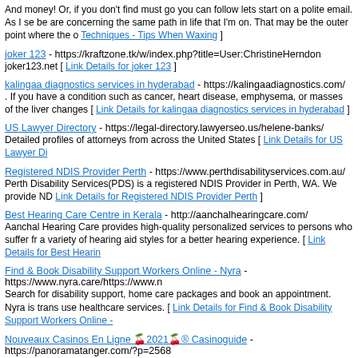And money! Or, if you don't find must go you can follow lets start on a polite email. As I se be are concerning the same path in life that I'm on. That may be the outer point where the o Techniques - Tips When Waxing ]
joker 123 - https://kraftzone.tk/w/index.php?title=User:ChristineHerndon joker123.net [ Link Details for joker 123 ]
kalingaa diagnostics services in hyderabad - https://kalingaadiagnostics.com/ . If you have a condition such as cancer, heart disease, emphysema, or masses of the liver changes [ Link Details for kalingaa diagnostics services in hyderabad ]
US Lawyer Directory - https://legal-directory.lawyerseo.us/helene-banks/ Detailed profiles of attorneys from across the United States [ Link Details for US Lawyer Di
Registered NDIS Provider Perth - https://www.perthdisabilityservices.com.au/ Perth Disability Services(PDS) is a registered NDIS Provider in Perth, WA. We provide ND Link Details for Registered NDIS Provider Perth ]
Best Hearing Care Centre in Kerala - http://aanchalhearingcare.com/ Aanchal Hearing Care provides high-quality personalized services to persons who suffer fr a variety of hearing aid styles for a better hearing experience. [ Link Details for Best Hearin
Find & Book Disability Support Workers Online - Nyra - https://www.nyra.care/https://www.n Search for disability support, home care packages and book an appointment. Nyra is trans use healthcare services. [ Link Details for Find & Book Disability Support Workers Online -
Nouveaux Casinos En Ligne 🍒2021🍒® Casinoguide - https://panoramatanger.com/?p=2568 De nos jours, les joueurs de casino recherchent une expérience passionnante et ne veuler Details for Nouveaux Casinos En Ligne 🍒2021🍒® Casinoguide ]
Hearing Aid Dealers & Distributors Coimbatore - https://www.globalhearing.in Hearing Aid Dealers & Distributors Coimbatore - We are providing latest trending hearing a Phonak, Siemens, Elkon, Starkey, Unitron, Cosmic, Arphi, Rexton, Widex, Zon, Bernafon, R Details for Hearing Aid Dealers & Distributors Coimbatore ]
Finding Low-Cost Parts For Your Lincoln - http://top.bookmarksiteslist.com/user.php?login= Buying a salvage car can be a great financial investment, however by nature, it's going to b